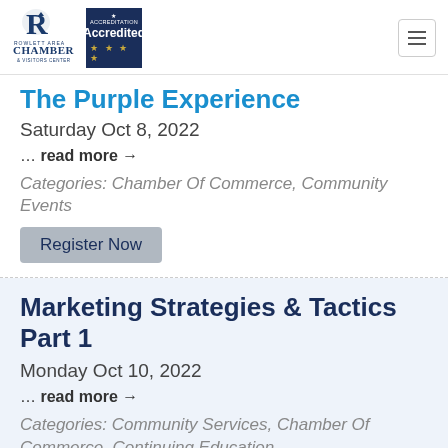[Figure (logo): Rowlett Area Chamber & Visitors Center logo with blue R and text, alongside an Accredited badge with stars on dark blue background]
The Purple Experience
Saturday Oct 8, 2022
… read more →
Categories: Chamber Of Commerce, Community Events
Register Now
Marketing Strategies & Tactics Part 1
Monday Oct 10, 2022
… read more →
Categories: Community Services, Chamber Of Commerce, Continuing Education